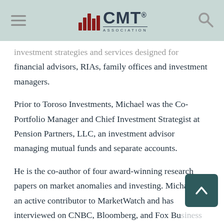CMT Association
investment strategies and services designed for financial advisors, RIAs, family offices and investment managers.
Prior to Toroso Investments, Michael was the Co-Portfolio Manager and Chief Investment Strategist at Pension Partners, LLC, an investment advisor managing mutual funds and separate accounts.
He is the co-author of four award-winning research papers on market anomalies and investing. Michael is an active contributor to MarketWatch and has interviewed on CNBC, Bloomberg, and Fox Bu... as well as the Wall Street Journal Live for his unique